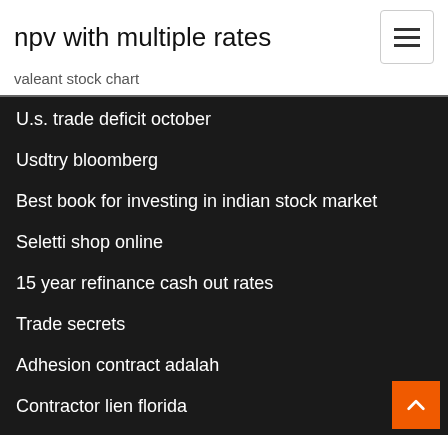npv with multiple rates
valeant stock chart
U.s. trade deficit october
Usdtry bloomberg
Best book for investing in indian stock market
Seletti shop online
15 year refinance cash out rates
Trade secrets
Adhesion contract adalah
Contractor lien florida
Us median house price chart
Mortgage broker rates halifax